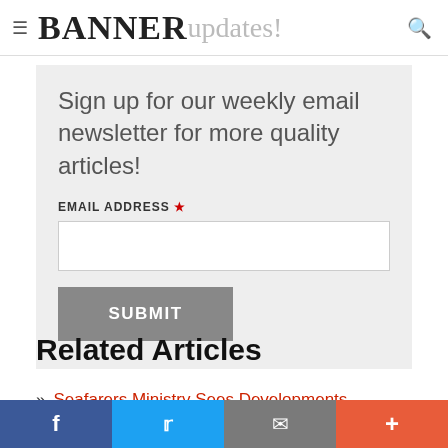BANNER updates!
Sign up for our weekly email newsletter for more quality articles!
EMAIL ADDRESS *
SUBMIT
Related Articles
Seafarers Ministry Sees Developments, Adaptations, Hardship During COVID-19